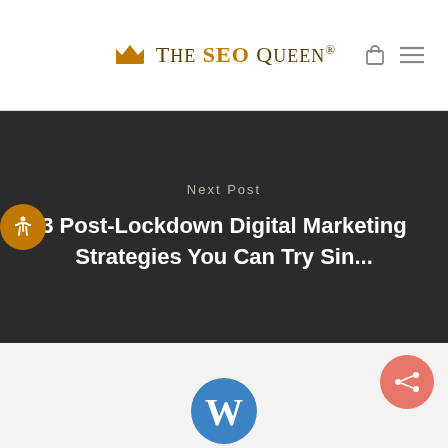The SEO Queen®
Next Post
3 Post-Lockdown Digital Marketing Strategies You Can Try Sin...
[Figure (logo): WordPress-style logo partially visible at the bottom of the page]